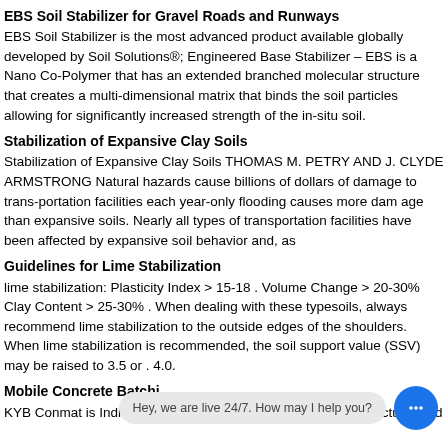EBS Soil Stabilizer for Gravel Roads and Runways
EBS Soil Stabilizer is the most advanced product available globally developed by Soil Solutions®; Engineered Base Stabilizer – EBS is a Nano Co-Polymer that has an extended branched molecular structure that creates a multi-dimensional matrix that binds the soil particles allowing for significantly increased strength of the in-situ soil.
Stabilization of Expansive Clay Soils
Stabilization of Expansive Clay Soils THOMAS M. PETRY AND J. CLYDE ARMSTRONG Natural hazards cause billions of dollars of damage to trans-portation facilities each year-only flooding causes more dam age than expansive soils. Nearly all types of transportation facilities have been affected by expansive soil behavior and, as
Guidelines for Lime Stabilization
lime stabilization: Plasticity Index > 15-18 . Volume Change > 20-30% Clay Content > 25-30% . When dealing with these typesoils, always recommend lime stabilization to the outside edges of the shoulders. When lime stabilization is recommended, the soil support value (SSV) may be raised to 3.5 or . 4.0.
Mobile Concrete Batchi
KYB Conmat is India's leading Construction Equipment manufacturer and